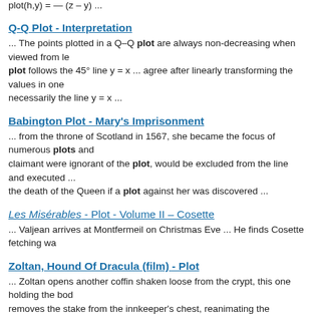plot(h,y) = — (z – y) ...
Q-Q Plot - Interpretation
... The points plotted in a Q–Q plot are always non-decreasing when viewed from le plot follows the 45° line y = x ... agree after linearly transforming the values in one necessarily the line y = x ...
Babington Plot - Mary's Imprisonment
... from the throne of Scotland in 1567, she became the focus of numerous plots and claimant were ignorant of the plot, would be excluded from the line and executed ... the death of the Queen if a plot against her was discovered ...
Les Misérables - Plot - Volume II – Cosette
... Valjean arrives at Montfermeil on Christmas Eve ... He finds Cosette fetching wa
Zoltan, Hound Of Dracula (film) - Plot
... Zoltan opens another coffin shaken loose from the crypt, this one holding the bod removes the stake from the innkeeper's chest, reanimating the innkeeper ...
Famous quotes containing the word plot: